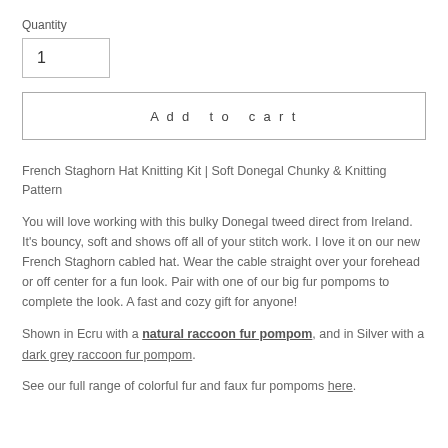Quantity
1
Add to cart
French Staghorn Hat Knitting Kit | Soft Donegal Chunky & Knitting Pattern
You will love working with this bulky Donegal tweed direct from Ireland.  It's bouncy, soft and shows off all of your stitch work.  I love it on our new French Staghorn cabled hat.  Wear the cable straight over your forehead or off center for a fun look.  Pair with one of our big fur pompoms to complete the look.  A fast and cozy gift for anyone!
Shown in Ecru with a natural raccoon fur pompom, and in Silver with a dark grey raccoon fur pompom.
See our full range of colorful fur and faux fur pompoms here.